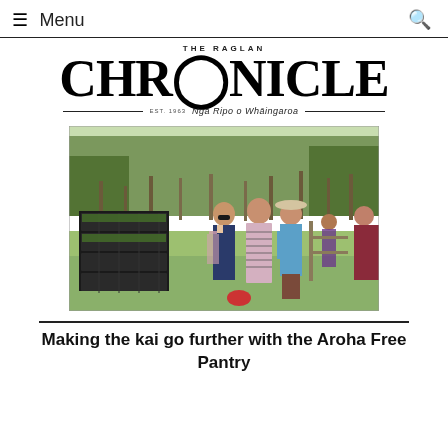Menu
THE RAGLAN CHRONICLE Ngā Ripo o Whāingaroa
[Figure (photo): Group of people standing outdoors next to stacked black plastic crates, with trees in the background on a sunny day.]
Making the kai go further with the Aroha Free Pantry